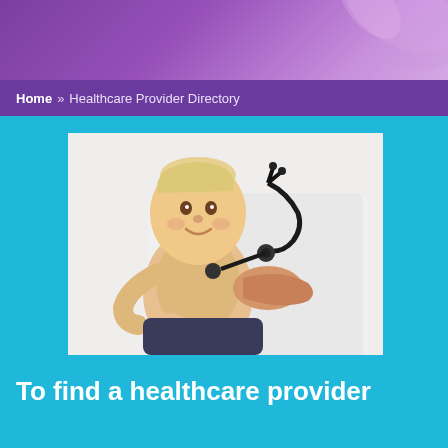[Figure (photo): Purple/violet decorative header banner with abstract leaf/floral pattern in the top right corner]
Home » Healthcare Provider Directory
[Figure (photo): A smiling baby/infant being examined by a doctor in a white coat who is using a stethoscope on the baby's chest]
To find a healthcare provider